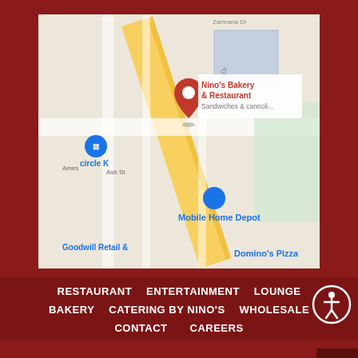[Figure (map): Google Maps screenshot showing Nino's Bakery & Restaurant location with nearby landmarks: Circle K, Mobile Home Depot, Goodwill Retail, Domino's Pizza. Street labels include Aqui Esta Dr.]
RESTAURANT
ENTERTAINMENT
LOUNGE
BAKERY
CATERING BY NINO'S
WHOLESALE
CONTACT
CAREERS
[Figure (illustration): Facebook and Instagram social media icons in white]
Copyright© 2008-2022 by Nino's Bakery. All Rights Reserved.
Policies. Site by CeJay Associates, LLC